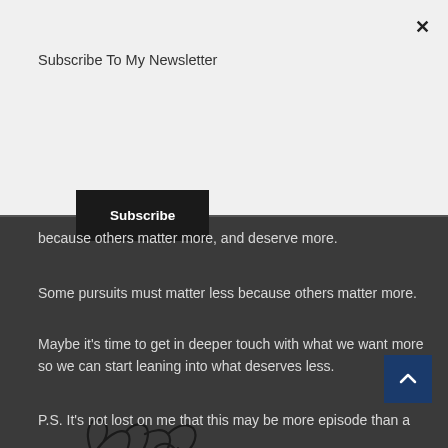Subscribe To My Newsletter
Subscribe
because others matter more, and deserve more.
Some pursuits must matter less because others matter more.
Maybe it's time to get in deeper touch with what we want more so we can start leaning into what deserves less.
[Figure (illustration): Handwritten cursive signature reading 'Randy']
P.S. It's not lost on me that this may be more episode than a